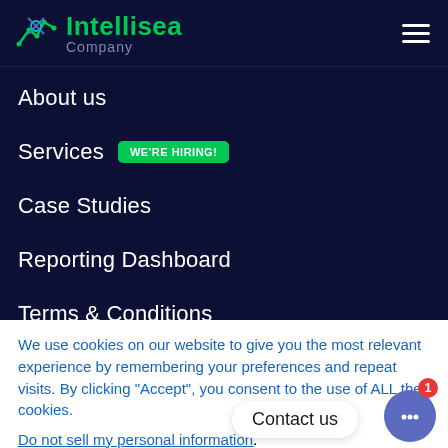[Figure (logo): Intellisea Company logo with green graph icon and teal/green text]
About us
Services  WE'RE HIRING!
Case Studies
Reporting Dashboard
Terms & Conditions
We use cookies on our website to give you the most relevant experience by remembering your preferences and repeat visits. By clicking “Accept”, you consent to the use of ALL the cookies.
Do not sell my personal information.
Cookie settings  ACCEPT  Contact us